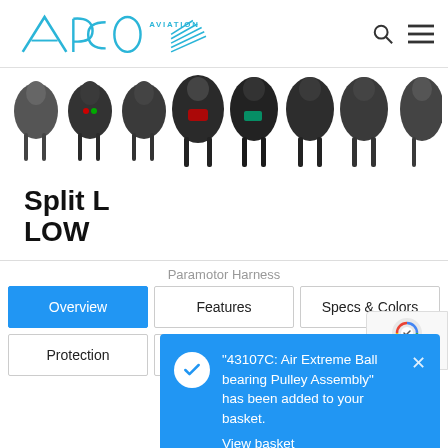APCO Aviation
[Figure (photo): Row of paramotor harnesses shown from front view against white background, approximately 8 harness models displayed side by side]
Split L LOW
"43107C: Air Extreme Ball bearing Pulley Assembly" has been added to your basket. View basket
Paramotor Harness
Overview
Features
Specs & Colors
Protection
FAQ
Options